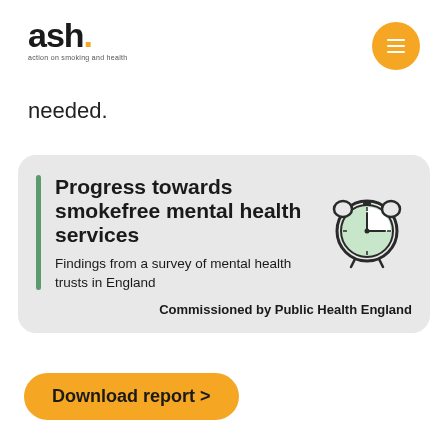ash. action on smoking and health
needed.
[Figure (infographic): Report card with green vertical bar, title 'Progress towards smokefree mental health services', subtitle 'Findings from a survey of mental health trusts in England', alarm clock illustration, and 'Commissioned by Public Health England' text on light grey rounded rectangle background.]
Download report >